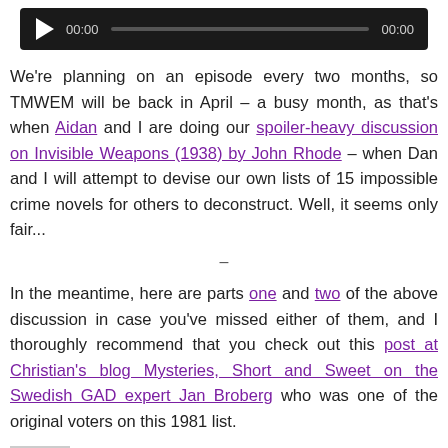[Figure (other): Audio player widget with play button, timestamp 00:00, progress bar, and end time 00:00 on dark background]
We're planning on an episode every two months, so TMWEM will be back in April – a busy month, as that's when Aidan and I are doing our spoiler-heavy discussion on Invisible Weapons (1938) by John Rhode – when Dan and I will attempt to devise our own lists of 15 impossible crime novels for others to deconstruct. Well, it seems only fair...
–
In the meantime, here are parts one and two of the above discussion in case you've missed either of them, and I thoroughly recommend that you check out this post at Christian's blog Mysteries, Short and Sweet on the Swedish GAD expert Jan Broberg who was one of the original voters on this 1981 list.